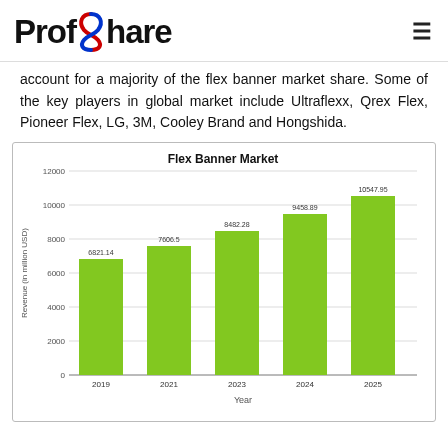ProfShare
account for a majority of the flex banner market share. Some of the key players in global market include Ultraflexx, Qrex Flex, Pioneer Flex, LG, 3M, Cooley Brand and Hongshida.
[Figure (bar-chart): Flex Banner Market]